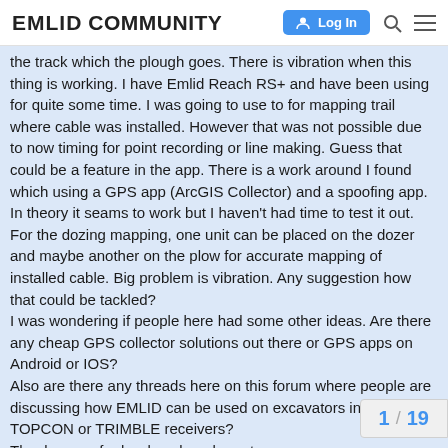EMLID COMMUNITY  Log In
the track which the plough goes. There is vibration when this thing is working. I have Emlid Reach RS+ and have been using for quite some time. I was going to use to for mapping trail where cable was installed. However that was not possible due to now timing for point recording or line making. Guess that could be a feature in the app. There is a work around I found which using a GPS app (ArcGIS Collector) and a spoofing app. In theory it seams to work but I haven't had time to test it out. For the dozing mapping, one unit can be placed on the dozer and maybe another on the plow for accurate mapping of installed cable. Big problem is vibration. Any suggestion how that could be tackled?
I was wondering if people here had some other ideas. Are there any cheap GPS collector solutions out there or GPS apps on Android or IOS?
Also are there any threads here on this forum where people are discussing how EMLID can be used on excavators instead of TOPCON or TRIMBLE receivers?
Thanks guys for hard work and great pro
1 / 19